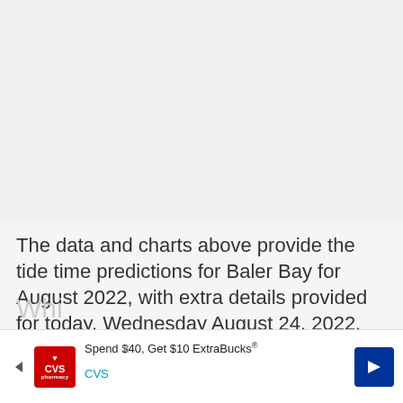[Figure (other): Empty gray area representing charts/data above the text block]
The data and charts above provide the tide time predictions for Baler Bay for August 2022, with extra details provided for today, Wednesday August 24, 2022.
Whi
[Figure (other): CVS Pharmacy advertisement banner: Spend $40, Get $10 ExtraBucks®]